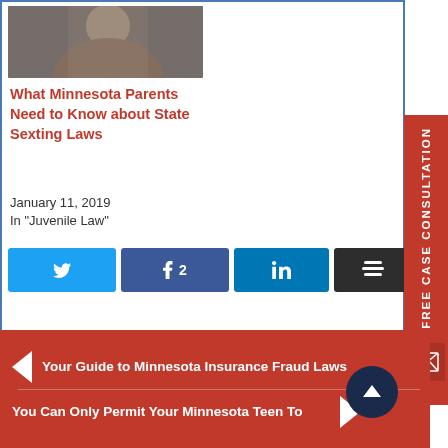[Figure (photo): Photo of a person holding a phone, partially visible, blurred/dark tones]
What Minnesota Parents Need to Know about State Sexting Laws
January 11, 2019
In "Juvenile Law"
[Figure (other): Social share buttons: Twitter, Facebook (2 shares), LinkedIn, Buffer]
FREE CASE CONSULTATION
Your Guide to Minnesota Insurance Fraud Laws
You Can Only Permit Your Minnesota Teen To